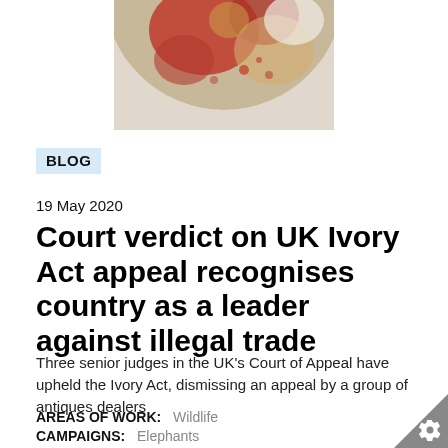[Figure (photo): Circular cropped photo showing a globe or decorative object with red and gold details on a white/grey background, visible at the top of the page]
BLOG
19 May 2020
Court verdict on UK Ivory Act appeal recognises country as a leader against illegal trade
Three senior judges in the UK’s Court of Appeal have upheld the Ivory Act, dismissing an appeal by a group of antiques dealers
AREAS OF WORK:   Wildlife
CAMPAIGNS:   Elephants